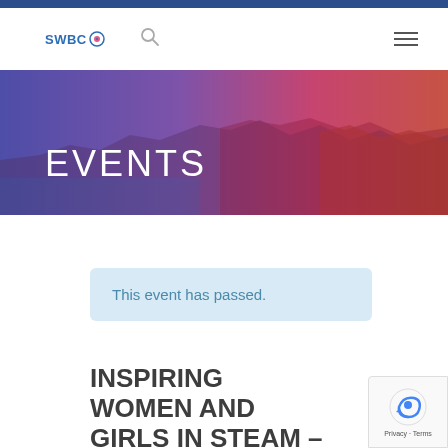SWBC (logo) — navigation header with search icon and hamburger menu
[Figure (photo): Coastal landscape banner with purple-to-red gradient overlay showing rocky cliffs and ocean]
EVENTS
This event has passed.
INSPIRING WOMEN AND GIRLS IN STEAM –
[Figure (other): reCAPTCHA badge with Privacy and Terms links]